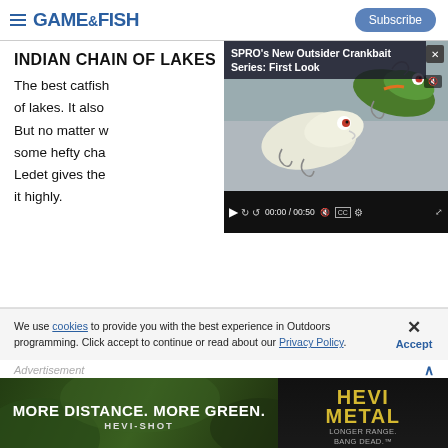GAME&FISH — Subscribe
INDIAN CHAIN OF LAKES
The best catfish ... of lakes. It also ... But no matter w... some hefty cha... Ledet gives the... it highly.
[Figure (screenshot): Video player overlay showing SPRO's New Outsider Crankbait Series: First Look, 00:00 / 00:50]
We use cookies to provide you with the best experience in Outdoors programming. Click accept to continue or read about our Privacy Policy.
Advertisement
[Figure (photo): Advertisement banner: MORE DISTANCE. MORE GREEN. HEVI-SHOT | HEVI METAL LONGER RANGE. BANG DEAD.]